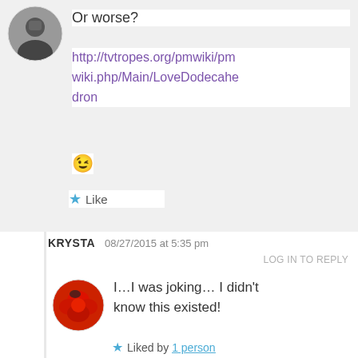[Figure (photo): Black and white circular avatar photo of a person holding a camera]
Or worse?
http://tvtropes.org/pmwiki/pmwiki.php/Main/LoveDodecahedron
😉
★ Like
KRYSTA   08/27/2015 at 5:35 pm
LOG IN TO REPLY
[Figure (photo): Circular avatar photo of a red rose]
I…I was joking… I didn't know this existed!
★ Liked by 1 person